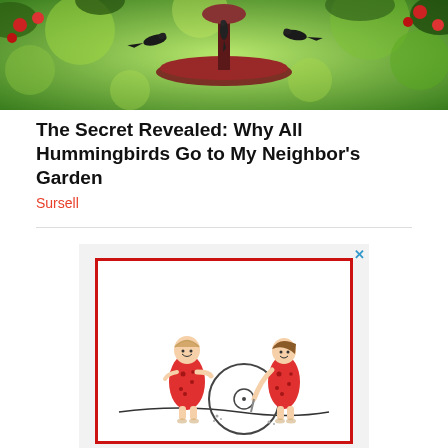[Figure (photo): Photo of hummingbirds at a red feeder with green bokeh background]
The Secret Revealed: Why All Hummingbirds Go to My Neighbor's Garden
Sursell
[Figure (illustration): Advertisement for Salon magazine featuring a line drawing of two prehistoric cave people in red spotted garments with a stone wheel between them, inside a red border frame, with 'salon' text below]